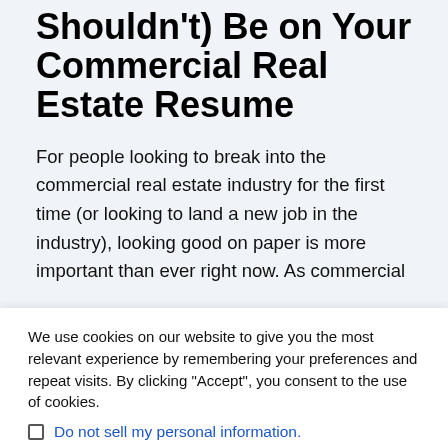What Should (and Shouldn't) Be on Your Commercial Real Estate Resume
For people looking to break into the commercial real estate industry for the first time (or looking to land a new job in the industry), looking good on paper is more important than ever right now. As commercial
We use cookies on our website to give you the most relevant experience by remembering your preferences and repeat visits. By clicking "Accept", you consent to the use of cookies.
Do not sell my personal information.
Cookie settings
ACCEPT